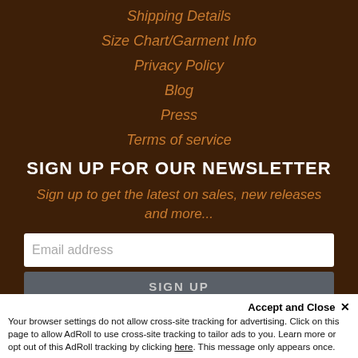Shipping Details
Size Chart/Garment Info
Privacy Policy
Blog
Press
Terms of service
SIGN UP FOR OUR NEWSLETTER
Sign up to get the latest on sales, new releases and more...
Email address
SIGN UP
Accept and Close ✕
Your browser settings do not allow cross-site tracking for advertising. Click on this page to allow AdRoll to use cross-site tracking to tailor ads to you. Learn more or opt out of this AdRoll tracking by clicking here. This message only appears once.